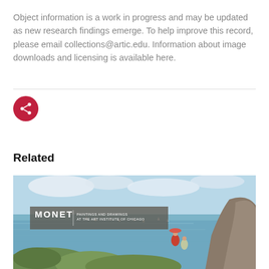Object information is a work in progress and may be updated as new research findings emerge. To help improve this record, please email collections@artic.edu. Information about image downloads and licensing is available here.
[Figure (illustration): Red circular share button with a white share/network icon]
Related
[Figure (photo): Monet: Paintings and Drawings at the Art Institute of Chicago — cover image showing a Monet painting of two women on a seaside cliff with sailboats in the background and a banner overlay with the exhibition title]